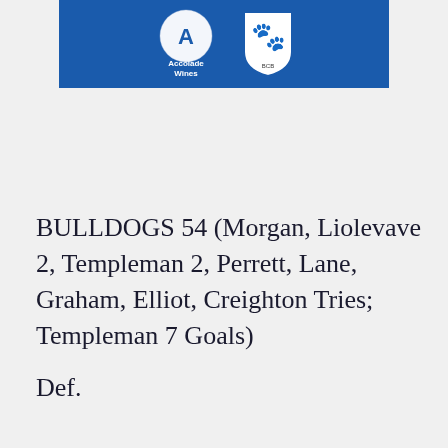[Figure (logo): Blue banner with Accolade Wines logo (white letter A on golf ball) and Canterbury Bulldogs shield logo on right]
BULLDOGS 54 (Morgan, Liolevave 2, Templeman 2, Perrett, Lane, Graham, Elliot, Creighton Tries; Templeman 7 Goals)
Def.